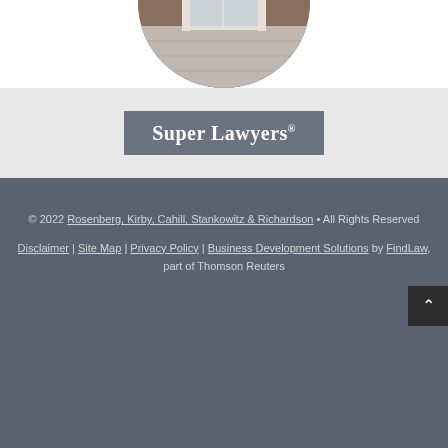[Figure (photo): Circular cropped photo of a brick office building entrance with glass doors and a paved walkway]
[Figure (logo): Super Lawyers badge/logo with white serif text on gray background]
© 2022 Rosenberg, Kirby, Cahill, Stankowitz & Richardson • All Rights Reserved
Disclaimer | Site Map | Privacy Policy | Business Development Solutions by FindLaw, part of Thomson Reuters